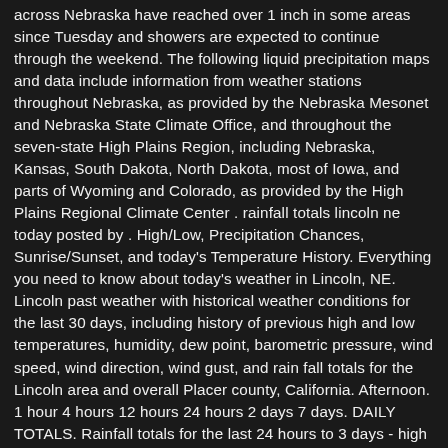across Nebraska have reached over 1 inch in some areas since Tuesday and showers are expected to continue through the weekend. The following liquid precipitation maps and data include information from weather stations throughout Nebraska, as provided by the Nebraska Mesonet and Nebraska State Climate Office, and throughout the seven-state High Plains Region, including Nebraska, Kansas, South Dakota, North Dakota, most of Iowa, and parts of Wyoming and Colorado, as provided by the High Plains Regional Climate Center . rainfall totals lincoln ne today posted by . High/Low, Precipitation Chances, Sunrise/Sunset, and today's Temperature History. Everything you need to know about today's weather in Lincoln, NE. Lincoln past weather with historical weather conditions for the last 30 days, including history of previous high and low temperatures, humidity, dew point, barometric pressure, wind speed, wind direction, wind gust, and rain fall totals for the Lincoln area and overall Placer county, California. Afternoon. 1 hour 4 hours 12 hours 24 hours 2 days 7 days. DAILY TOTALS. Rainfall totals for the last 24 hours to 3 days - high resolution map. Escolha uma Página. 7:46 am . Region. Be prepared with the most accurate 10-day forecast for Lincoln, NE with highs, lows, chance of precipitation from The Weather Channel and Weather.com Lincoln, Lincoln Municipal Airport (1.2 miles) Created with Highcharts 6.0.2; 2 4 6 8 10 12 14 16 18 20 22 24 26 28 30; Rainfall.willyweather.com DA: 25 PA: 41 MOZ Rank: 68 Lincoln Airport rainfall forecast issued today at 8:03 am. I wish there was some way to send it my